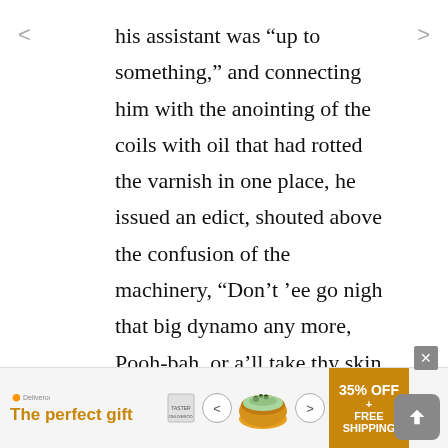his assistant was “up to something,” and connecting him with the anointing of the coils with oil that had rotted the varnish in one place, he issued an edict, shouted above the confusion of the machinery, “Don’t ’ee go nigh that big dynamo any more, Pooh-bah, or a’ll take thy skin off!” Besides, if it pleased Azuma-zi to be near the big machine, it was plain sense and decency to keep him away from it.
[Figure (other): Advertisement banner at bottom: 'The perfect gift' with food product imagery, arrows, discount offer showing 35% OFF + FREE SHIPPING]